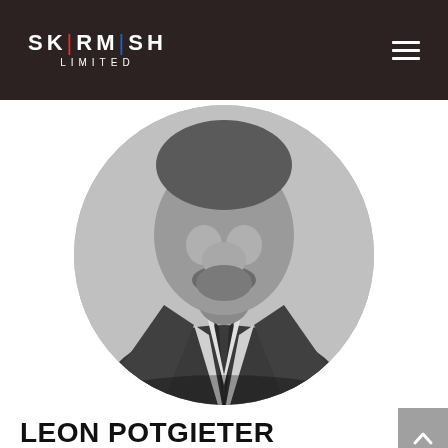SKIRMISH LIMITED
[Figure (photo): Black and white circular cropped portrait photo of Leon Potgieter, a man wearing a blazer and striped shirt with a tie, cropped at chin level]
LEON POTGIETER
Leon has over 25 years of wide-ranging experience as a Network Consultant, Designer and Software Lead in the Aeronautical, Communication,